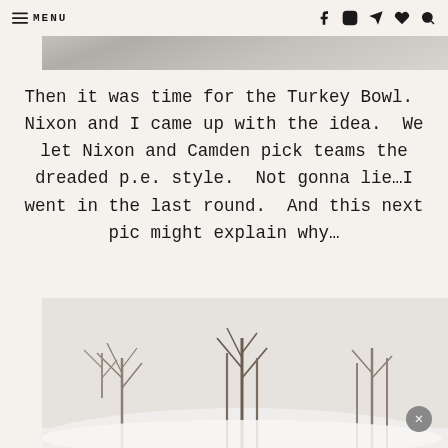≡ MENU
[Figure (photo): Top portion of a photo, light gray tones, appears to be an outdoor scene]
Then it was time for the Turkey Bowl.  Nixon and I came up with the idea.  We let Nixon and Camden pick teams the dreaded p.e. style.  Not gonna lie…I went in the last round.  And this next pic might explain why…
[Figure (photo): Winter outdoor scene with snow-covered ground and bare trees against a light gray sky]